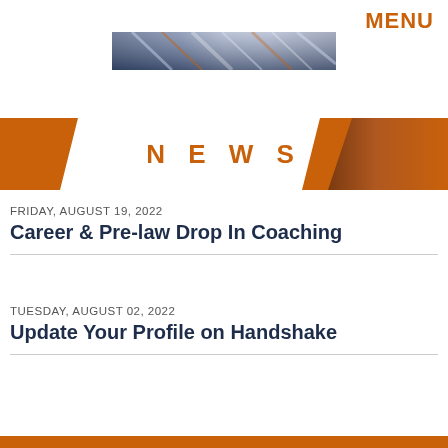MENU
[Figure (photo): Header image showing a blurred/abstract background, likely a campus or sports scene with orange and blue tones]
[Figure (infographic): NEWS banner with orange background and diagonal white slash, text reads N E W S in orange letters]
FRIDAY, AUGUST 19, 2022
Career & Pre-law Drop In Coaching
TUESDAY, AUGUST 02, 2022
Update Your Profile on Handshake